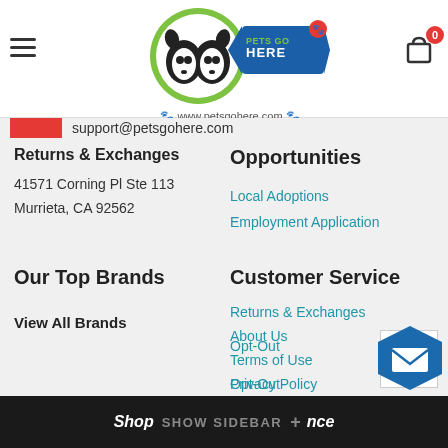[Figure (logo): Pets Go Here logo with dog and cat illustration, green circle, blue banner, paw print URL www.petsgohere.com]
support@petsgohere.com
Returns & Exchanges
41571 Corning Pl Ste 113
Murrieta, CA 92562
Opportunities
Local Adoptions
Employment Application
Our Top Brands
View All Brands
Customer Service
Returns & Exchanges
About Us
Terms of Use
Privacy Policy
Opt-Out
Shop SHOW SIDEBAR + nce